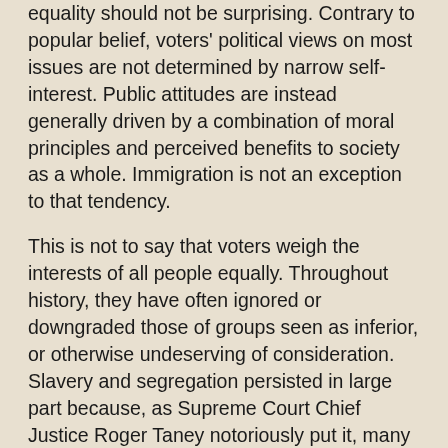equality should not be surprising. Contrary to popular belief, voters' political views on most issues are not determined by narrow self-interest. Public attitudes are instead generally driven by a combination of moral principles and perceived benefits to society as a whole. Immigration is not an exception to that tendency.
This is not to say that voters weigh the interests of all people equally. Throughout history, they have often ignored or downgraded those of groups seen as inferior, or otherwise undeserving of consideration. Slavery and segregation persisted in large part because, as Supreme Court Chief Justice Roger Taney notoriously put it, many whites believed that blacks "had no rights which the white man was bound to respect." Similarly, the subordination of women was not seriously questioned for many centuries, because most people believed that it was a natural part of life, and that men were entitled to rule over the opposite sex. In much the same way, today most people assume that natives are entitled to keep out immigrants either to preserve their culture against supposedly inferior ways or because they analogize a nation to a house or club from which the